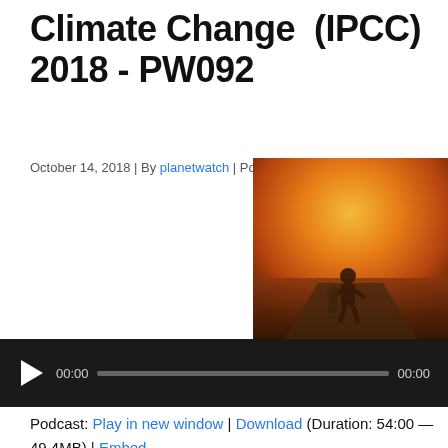Climate Change  (IPCC) 2018 - PW092
October 14, 2018 | By planetwatch | Post comment
[Figure (photo): A person running on a road under an orange/red smoky sky, carrying a child]
[Figure (screenshot): Audio player bar showing 00:00 / 00:00 with play button and progress bar]
Podcast: Play in new window | Download (Duration: 54:00 — 49.4MB) | Embed
Subscribe: Apple Podcasts | Google Podcasts | Stitcher | Email | RSS | More
https://media.blubrry.com/planet_watch_radio/p/content.blu
Play in new window | Download (Duration: 54:00 — 49.4MB) | Embed/Subscribe Apple Podcasts | Google...